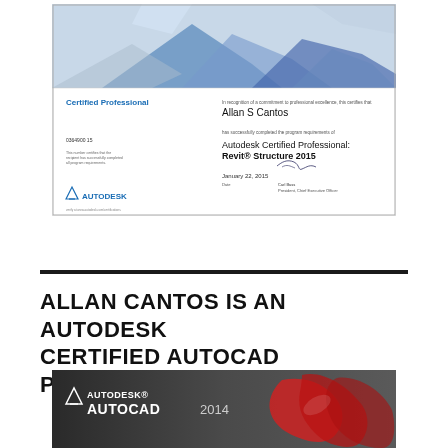[Figure (photo): Autodesk Certified Professional certificate for Revit Structure 2015 awarded to Allan S Cantos, dated January 22, 2015, signed by Carl Bass, President, Chief Executive Officer.]
ALLAN CANTOS IS AN AUTODESK CERTIFIED AUTOCAD PROFESSIONAL
[Figure (screenshot): Autodesk AutoCAD 2014 product splash/cover image with red mechanical part graphic on right side.]